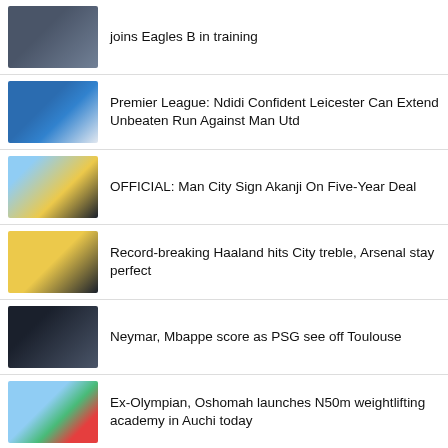joins Eagles B in training
Premier League: Ndidi Confident Leicester Can Extend Unbeaten Run Against Man Utd
OFFICIAL: Man City Sign Akanji On Five-Year Deal
Record-breaking Haaland hits City treble, Arsenal stay perfect
Neymar, Mbappe score as PSG see off Toulouse
Ex-Olympian, Oshomah launches N50m weightlifting academy in Auchi today
We plan to revolutionise Nigerian football, says Emeruwa
Super Falcons arrive Kansas City for friendly games with U.S.